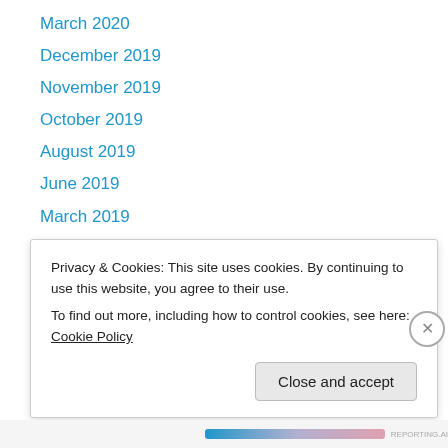March 2020
December 2019
November 2019
October 2019
August 2019
June 2019
March 2019
January 2019
December 2018
October 2018
September 2018
August 2018
July 2018
Privacy & Cookies: This site uses cookies. By continuing to use this website, you agree to their use.
To find out more, including how to control cookies, see here: Cookie Policy
Close and accept